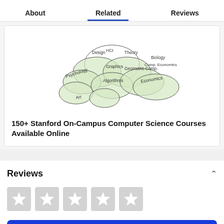About   Related   Reviews
[Figure (illustration): Venn diagram showing overlapping ellipses representing various academic disciplines related to computer science, including Design, HCI, Theory, Biology, Comp. Economics, Graphics, Geometric Comp., Psychology, Algorithms, Economics, Art]
150+ Stanford On-Campus Computer Science Courses Available Online
Reviews
[Figure (other): Five empty gray star rating boxes]
Go to class